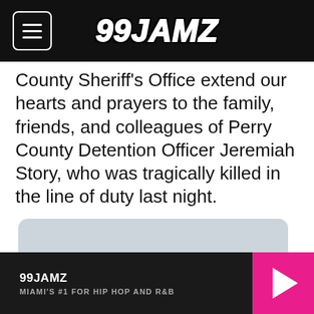99JAMZ
County Sheriff's Office extend our hearts and prayers to the family, friends, and colleagues of Perry County Detention Officer Jeremiah Story, who was tragically killed in the line of duty last night.
[Figure (other): Embedded social media or media player placeholder block with light blue-grey background and rounded corners]
99JAMZ MIAMI'S #1 FOR HIP HOP AND R&B